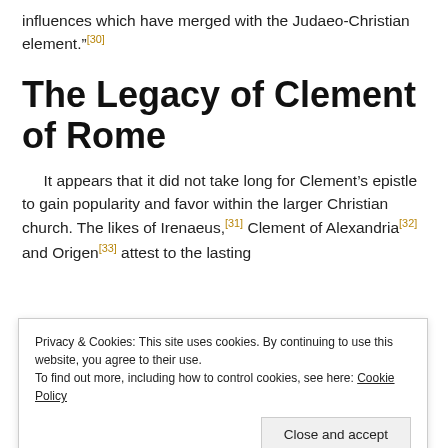influences which have merged with the Judaeo-Christian element."[30]
The Legacy of Clement of Rome
It appears that it did not take long for Clement's epistle to gain popularity and favor within the larger Christian church. The likes of Irenaeus,[31] Clement of Alexandria[32] and Origen[33] attest to the lasting
Privacy & Cookies: This site uses cookies. By continuing to use this website, you agree to their use. To find out more, including how to control cookies, see here: Cookie Policy
Close and accept